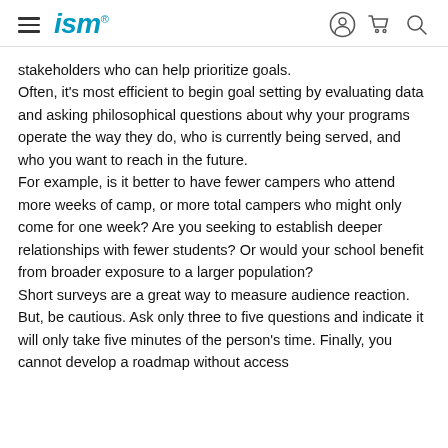ism
stakeholders who can help prioritize goals.
Often, it’s most efficient to begin goal setting by evaluating data and asking philosophical questions about why your programs operate the way they do, who is currently being served, and who you want to reach in the future.
For example, is it better to have fewer campers who attend more weeks of camp, or more total campers who might only come for one week? Are you seeking to establish deeper relationships with fewer students? Or would your school benefit from broader exposure to a larger population?
Short surveys are a great way to measure audience reaction. But, be cautious. Ask only three to five questions and indicate it will only take five minutes of the person’s time. Finally, you cannot develop a roadmap without access